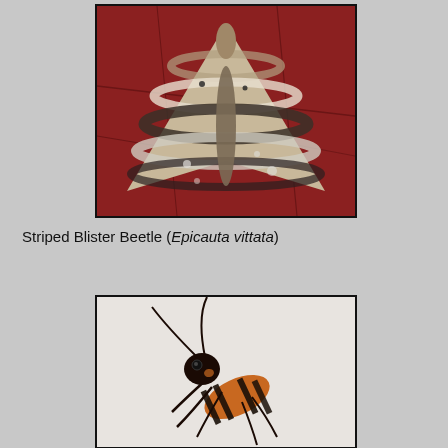[Figure (photo): A moth with patterned wings resting on a red painted wooden surface with peeling paint. The wings display a wavy banded pattern of grey, white, black and tan.]
Striped Blister Beetle (Epicauta vittata)
[Figure (photo): Close-up photo of a Striped Blister Beetle (Epicauta vittata) on a white surface, showing its distinctive orange and black striped body, antennae, and legs.]